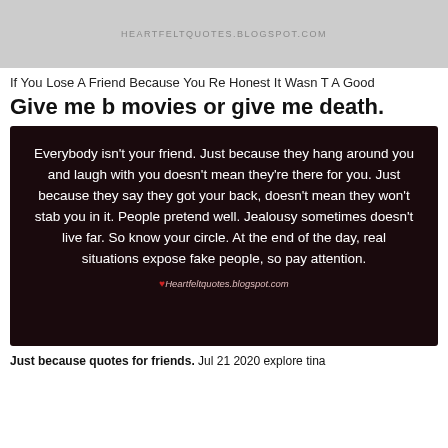HEARTFELTQUOTES.BLOGSPOT.COM
If You Lose A Friend Because You Re Honest It Wasn T A Good
Give me b movies or give me death.
[Figure (infographic): Dark maroon/black background image with white centered text quote: 'Everybody isn't your friend. Just because they hang around you and laugh with you doesn't mean they're there for you. Just because they say they got your back, doesn't mean they won't stab you in it. People pretend well. Jealousy sometimes doesn't live far. So know your circle. At the end of the day, real situations expose fake people, so pay attention.' Attribution: Heartfeltquotes.blogspot.com]
Just because quotes for friends. Jul 21 2020 explore tina